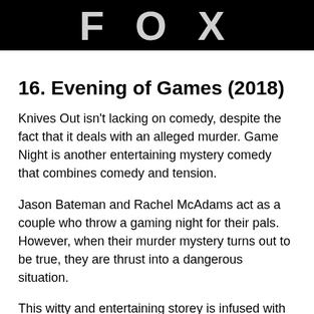FOX
16. Evening of Games (2018)
Knives Out isn't lacking on comedy, despite the fact that it deals with an alleged murder. Game Night is another entertaining mystery comedy that combines comedy and tension.
Jason Bateman and Rachel McAdams act as a couple who throw a gaming night for their pals. However, when their murder mystery turns out to be true, they are thrust into a dangerous situation.
This witty and entertaining storey is infused with a lot of energy thanks to the great ensemble. The chuckles only